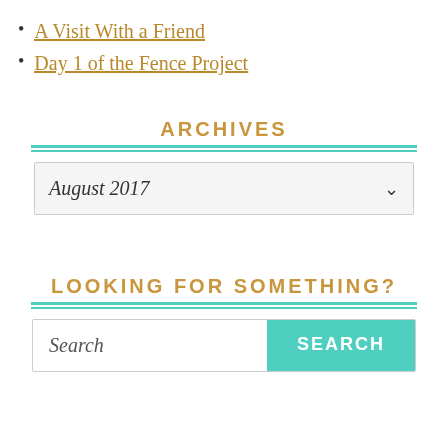A Visit With a Friend
Day 1 of the Fence Project
ARCHIVES
August 2017
LOOKING FOR SOMETHING?
Search